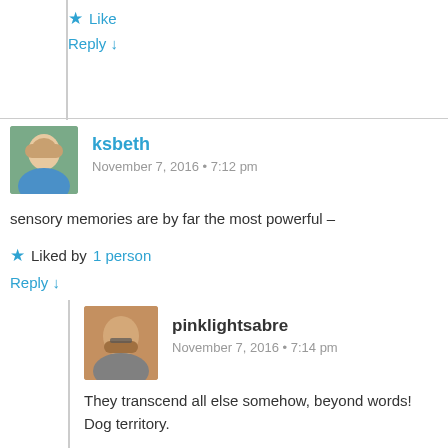Like
Reply ↓
ksbeth
November 7, 2016 • 7:12 pm
sensory memories are by far the most powerful –
Liked by 1 person
Reply ↓
pinklightsabre
November 7, 2016 • 7:14 pm
They transcend all else somehow, beyond words! Dog territory.
Like